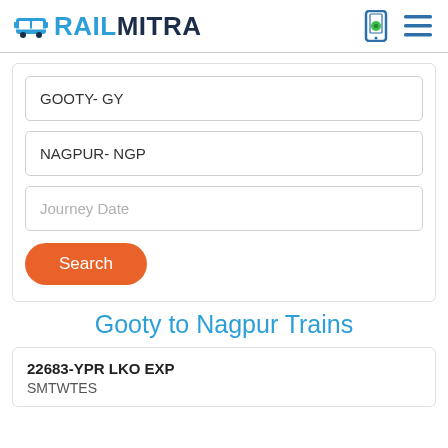RAILMITRA
GOOTY- GY
NAGPUR- NGP
Journey Date
Search
Gooty to Nagpur Trains
22683-YPR LKO EXP
SMTWTES